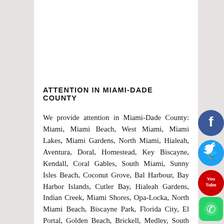ATTENTION IN MIAMI-DADE COUNTY
We provide attention in Miami-Dade County: Miami, Miami Beach, West Miami, Miami Lakes, Miami Gardens, North Miami, Hialeah, Aventura, Doral, Homestead, Key Biscayne, Kendall, Coral Gables, South Miami, Sunny Isles Beach, Coconut Grove, Bal Harbour, Bay Harbor Islands, Cutler Bay, Hialeah Gardens, Indian Creek, Miami Shores, Opa-Locka, North Miami Beach, Biscayne Park, Florida City, El Portal, Golden Beach, Brickell, Medley, South Miami Beach, Miami Springs, North Bay Village, Palmetto Bay, Pinecrest, and Virginia Gardens.